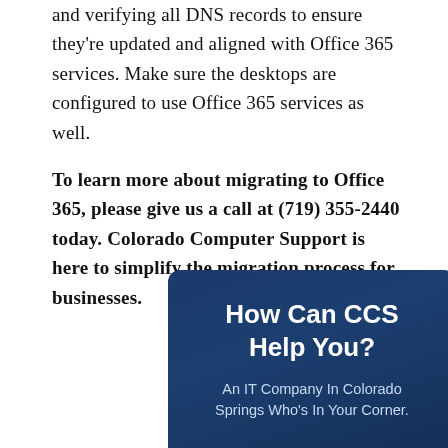and verifying all DNS records to ensure they're updated and aligned with Office 365 services. Make sure the desktops are configured to use Office 365 services as well.
To learn more about migrating to Office 365, please give us a call at (719) 355-2440 today. Colorado Computer Support is here to simplify the migration process for businesses.
[Figure (infographic): Dark navy blue rounded box with bold white heading 'How Can CCS Help You?' and subtitle text 'An IT Company In Colorado Springs Who's In Your Corner.']